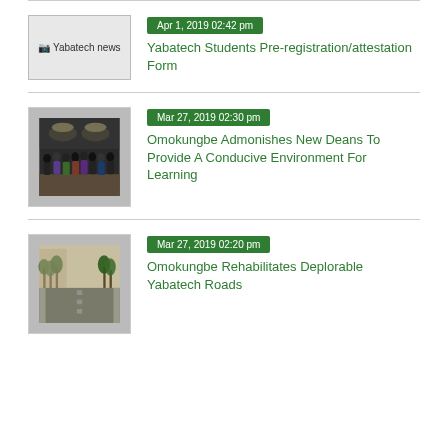[Figure (photo): Yabatech news placeholder image with alt text]
Apr 1, 2019 02:42 pm
Yabatech Students Pre-registration/attestation Form
[Figure (photo): Group photo of people standing in a hall, event at Yabatech]
Mar 27, 2019 02:30 pm
Omokungbe Admonishes New Deans To Provide A Conducive Environment For Learning
[Figure (photo): Road with trees on both sides, rehabilitated Yabatech road]
Mar 27, 2019 02:20 pm
Omokungbe Rehabilitates Deplorable Yabatech Roads